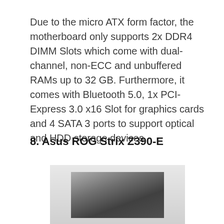Due to the micro ATX form factor, the motherboard only supports 2x DDR4 DIMM Slots which come with dual-channel, non-ECC and unbuffered RAMs up to 32 GB. Furthermore, it comes with Bluetooth 5.0, 1x PCI-Express 3.0 x16 Slot for graphics cards and 4 SATA 3 ports to support optical and HDD storage devices.
8. Asus ROG Strix Z390-E
[Figure (photo): Photo of the Asus ROG Strix Z390-E motherboard, partially visible, blurred/redacted]